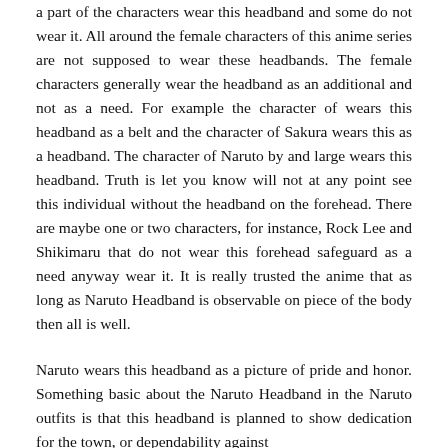a part of the characters wear this headband and some do not wear it. All around the female characters of this anime series are not supposed to wear these headbands. The female characters generally wear the headband as an additional and not as a need. For example the character of wears this headband as a belt and the character of Sakura wears this as a headband. The character of Naruto by and large wears this headband. Truth is let you know will not at any point see this individual without the headband on the forehead. There are maybe one or two characters, for instance, Rock Lee and Shikimaru that do not wear this forehead safeguard as a need anyway wear it. It is really trusted the anime that as long as Naruto Headband is observable on piece of the body then all is well.
Naruto wears this headband as a picture of pride and honor. Something basic about the Naruto Headband in the Naruto outfits is that this headband is planned to show dedication for the town, or dependability against